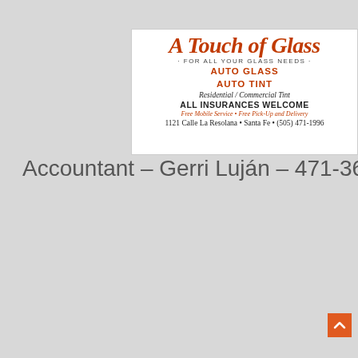[Figure (other): Business card for A Touch of Glass auto glass and tint shop. Shows company name in red italic serif font arched at top, tagline 'FOR ALL YOUR GLASS NEEDS', services AUTO GLASS and AUTO TINT in red, Residential/Commercial Tint, ALL INSURANCES WELCOME, Free Mobile Service and Free Pick-Up and Delivery, address 1121 Calle La Resolana, Santa Fe, (505) 471-1996.]
Accountant – Gerri Luján – 471-3680
[Figure (other): Business card for Gerri Lujan Bookkeeping, Payroll & Taxes. Left side has dark navy and purple geometric triangular shapes. Right side shows business name, address 182 B County Road 84 C, Santa Fe, NM 87506, owner name Gerri Lujan in purple, title Owner, phone (505)471-3680 Office (505)365-1244 Fax, (505)699-4066 Cell, email gerrilujan@gmail.com.]